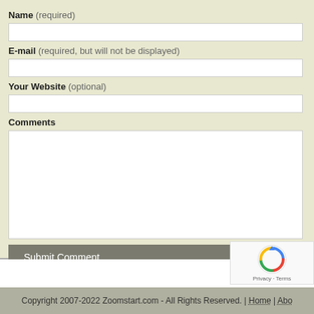Name (required)
E-mail (required, but will not be displayed)
Your Website (optional)
Comments
Submit Comment
[Figure (other): reCAPTCHA widget with logo and Privacy - Terms text]
Copyright 2007-2022 Zoomstart.com - All Rights Reserved. | Home | Abo...